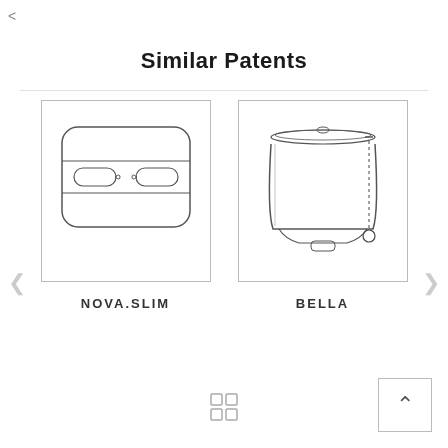<
Similar Patents
[Figure (illustration): Line drawing of NOVA.SLIM flush plate with two oval buttons side by side in a rectangular rounded frame]
NOVA.SLIM
[Figure (illustration): Line drawing of BELLA toilet cistern tank with pull chain, from front view]
BELLA